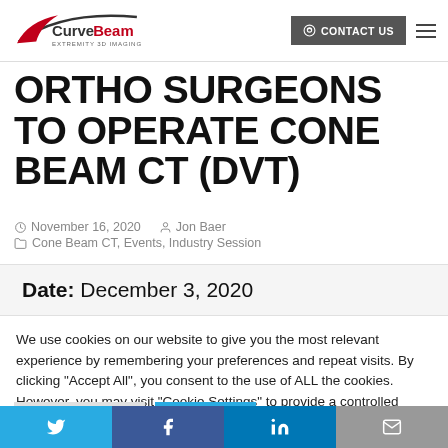CurveBeam — EXTREMITY 3D IMAGING | CONTACT US
ORTHO SURGEONS TO OPERATE CONE BEAM CT (DVT)
November 16, 2020   Jon Baer   Cone Beam CT, Events, Industry Session
Date: December 3, 2020
We use cookies on our website to give you the most relevant experience by remembering your preferences and repeat visits. By clicking "Accept All", you consent to the use of ALL the cookies. However, you may visit "Cookie Settings" to provide a controlled consent.
Cookie Settings   Accept All
Twitter  Facebook  LinkedIn  Email